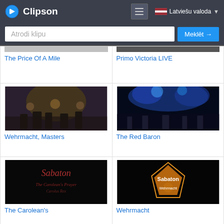Clipson — Latviešu valoda
Atrodi klipu — Meklēt →
[Figure (screenshot): Thumbnail image for 'The Price Of A Mile' music clip]
The Price Of A Mile
[Figure (screenshot): Thumbnail image for 'Primo Victoria LIVE' music clip]
Primo Victoria LIVE
[Figure (screenshot): Concert photo for 'Wehrmacht, Masters' clip]
Wehrmacht, Masters
[Figure (screenshot): Concert photo with blue stage lighting for 'The Red Baron' clip]
The Red Baron
[Figure (screenshot): Sabaton album art for 'The Carolean's' clip]
The Carolean's
[Figure (screenshot): Sabaton logo art for 'Wehrmacht' clip]
Wehrmacht